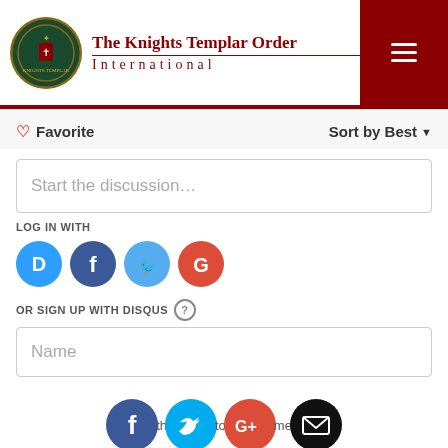The Knights Templar Order International
Favorite   Sort by Best
Start the discussion...
LOG IN WITH
[Figure (logo): Social login icons: Disqus (blue), Facebook (dark blue), Twitter (blue), Google (red)]
OR SIGN UP WITH DISQUS ?
Name
[Figure (logo): Bottom social share icons: Facebook (dark blue), Twitter (cyan), Google+ (orange-red), Email (black)]